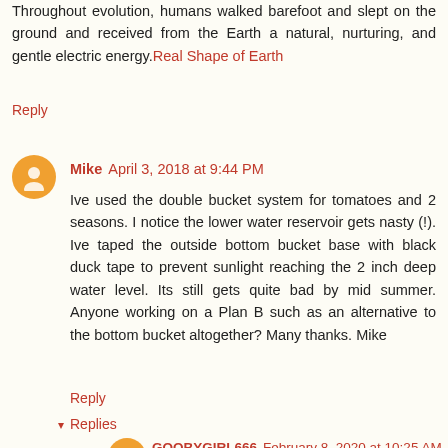Throughout evolution, humans walked barefoot and slept on the ground and received from the Earth a natural, nurturing, and gentle electric energy. Real Shape of Earth
Reply
Mike  April 3, 2018 at 9:44 PM
Ive used the double bucket system for tomatoes and 2 seasons. I notice the lower water reservoir gets nasty (!). Ive taped the outside bottom bucket base with black duck tape to prevent sunlight reaching the 2 inch deep water level. Its still gets quite bad by mid summer. Anyone working on a Plan B such as an alternative to the bottom bucket altogether? Many thanks. Mike
Reply
Replies
GOOBYGIRL666  February 8, 2020 at 10:25 AM
I use orange home depot buckets which don't let